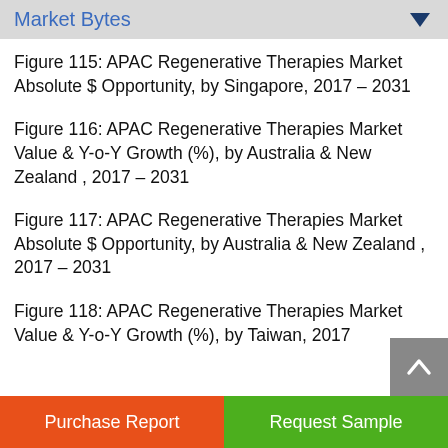Market Bytes
Figure 115: APAC Regenerative Therapies Market Absolute $ Opportunity, by Singapore, 2017 – 2031
Figure 116: APAC Regenerative Therapies Market Value & Y-o-Y Growth (%), by Australia & New Zealand , 2017 – 2031
Figure 117: APAC Regenerative Therapies Market Absolute $ Opportunity, by Australia & New Zealand , 2017 – 2031
Figure 118: APAC Regenerative Therapies Market Value & Y-o-Y Growth (%), by Taiwan, 2017
Purchase Report  |  Request Sample